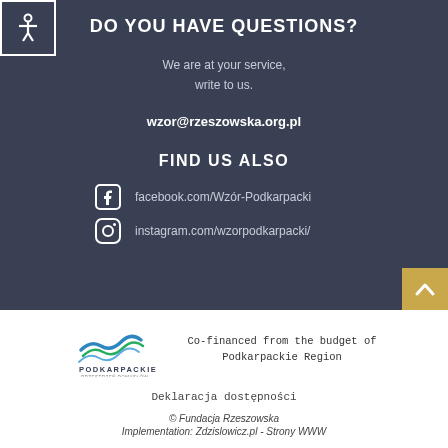DO YOU HAVE QUESTIONS?
We are at your service, write to us.
wzor@rzeszowska.org.pl
FIND US ALSO
facebook.com/Wzór-Podkarpacki
instagram.com/wzorpodkarpacki/
Co-financed from the budget of Podkarpackie Region
Deklaracja dostępności
© Fundacja Rzeszowska Implementation: Zdzislowicz.pl - Strony WWW